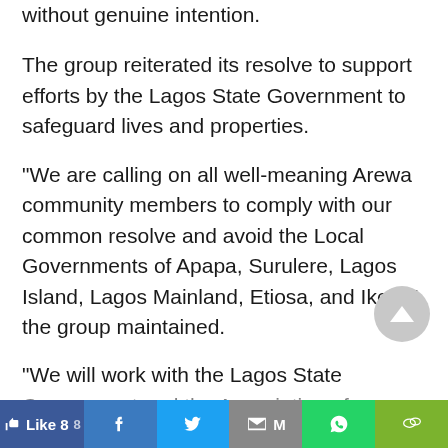without genuine intention.
The group reiterated its resolve to support efforts by the Lagos State Government to safeguard lives and properties.
“We are calling on all well-meaning Arewa community members to comply with our common resolve and avoid the Local Governments of Apapa, Surulere, Lagos Island, Lagos Mainland, Etiosa, and Ikeja,” the group maintained.
“We will work with the Lagos State Government and the Association of Arewa...